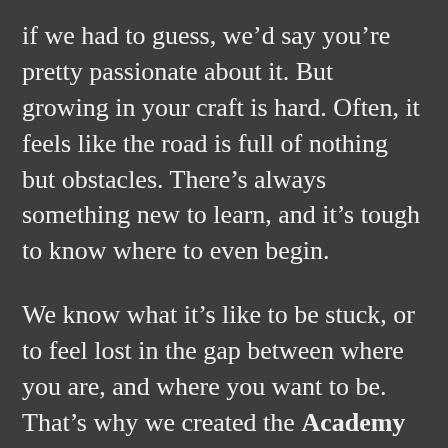if we had to guess, we’d say you’re pretty passionate about it. But growing in your craft is hard. Often, it feels like the road is full of nothing but obstacles. There’s always something new to learn, and it’s tough to know where to even begin.
We know what it’s like to be stuck, or to feel lost in the gap between where you are, and where you want to be. That’s why we created the Academy of Storytellers – a community where we all improve our filmmaking together, so that we can build sustainable, lifelong careers in the craft we